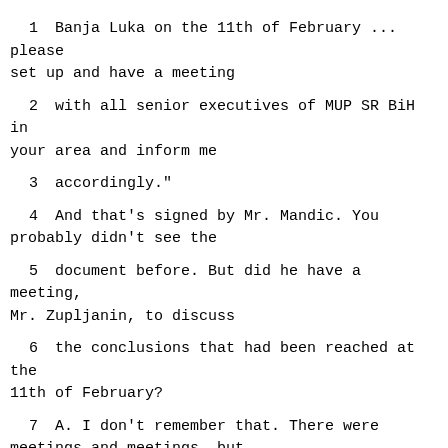1      Banja Luka on the 11th of February ... please set up and have a meeting
2      with all senior executives of MUP SR BiH in your area and inform me
3      accordingly."
4      And that's signed by Mr. Mandic.  You probably didn't see the
5      document before.  But did he have a meeting, Mr. Zupljanin, to discuss
6      the conclusions that had been reached at the 11th of February?
7      A.   I don't remember that.  There were meetings and meetings, but